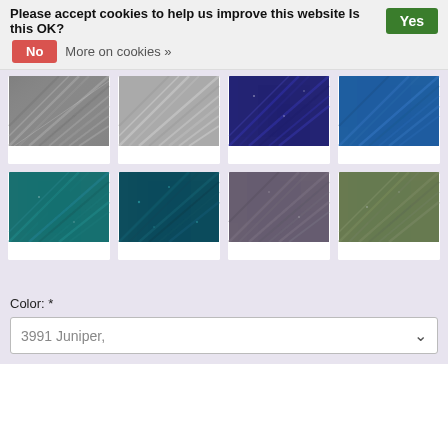Please accept cookies to help us improve this website Is this OK? Yes No More on cookies »
[Figure (photo): Grid of 8 yarn color swatches: gray heather, light gray, navy sparkle, blue, teal, dark teal sparkle, mauve/gray, sage green]
Color: *
3991 Juniper,